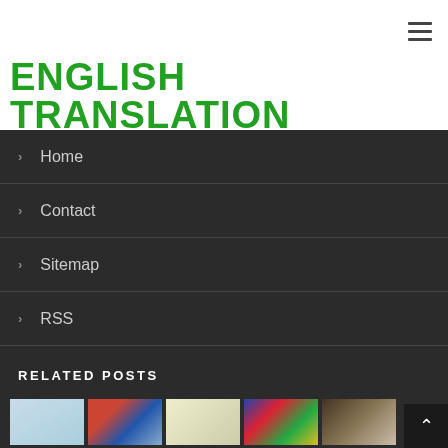ENGLISH TRANSLATION
Home
Contact
Sitemap
RSS
RELATED POSTS
[Figure (photo): Five thumbnail images of related posts at the bottom of the page]